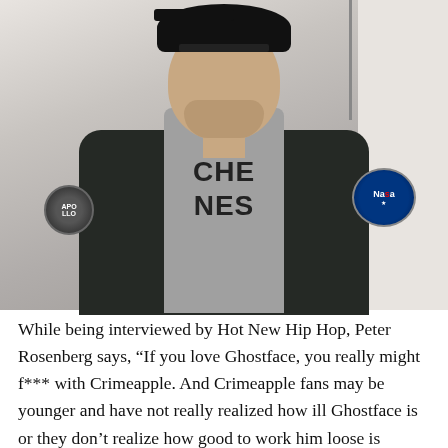[Figure (photo): A man wearing a backwards black baseball cap, gray hoodie with text partially visible ('CHE NES'), and a dark bomber jacket with an Apollo patch on the left chest and a NASA patch on the right chest. He is looking directly at the camera against a light gray background. A microphone stand is visible in the upper right.]
While being interviewed by Hot New Hip Hop, Peter Rosenberg says, “If you love Ghostface, you really might f*** with Crimeapple. And Crimeapple fans may be younger and have not really realized how ill Ghostface is or they don’t realize how good to work him loose is